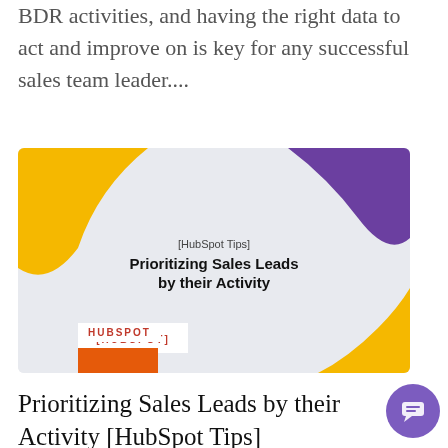BDR activities, and having the right data to act and improve on is key for any successful sales team leader....
[Figure (screenshot): HubSpot card image with title '[HubSpot Tips] Prioritizing Sales Leads by their Activity', decorated with yellow and purple blobs on a light gray background, with HUBSPOT label and orange bar at bottom left.]
Prioritizing Sales Leads by their Activity [HubSpot Tips]